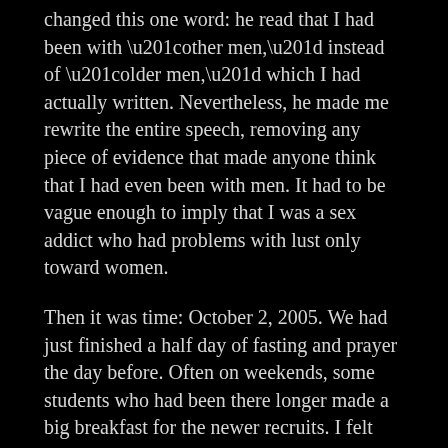changed this one word: he read that I had been with “other men,” instead of “older men,” which I had actually written. Nevertheless, he made me rewrite the entire speech, removing any piece of evidence that made anyone think that I had even been with men. It had to be vague enough to imply that I was a sex addict who had problems with lust only toward women.
Then it was time: October 2, 2005. We had just finished a half day of fasting and prayer the day before. Often on weekends, some students who had been there longer made a big breakfast for the newer recruits. I felt obligated to wake up early and served them. I felt like I was being a good example. After breakfast, all of the men crammed into the small cafeteria, which had been converted from the downstairs area of the old